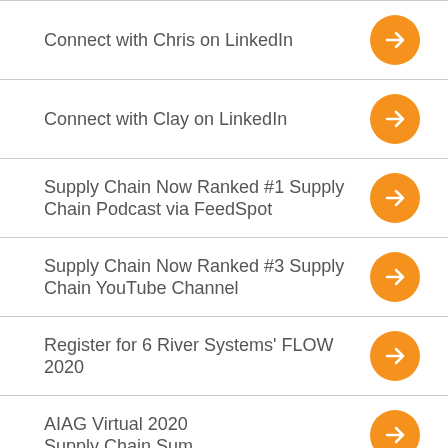Connect with Chris on LinkedIn
Connect with Clay on LinkedIn
Supply Chain Now Ranked #1 Supply Chain Podcast via FeedSpot
Supply Chain Now Ranked #3 Supply Chain YouTube Channel
Register for 6 River Systems' FLOW 2020
AIAG Virtual 2020 Supply Chain Summit